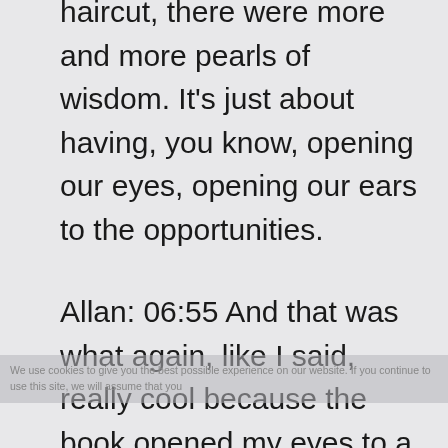haircut, there were more and more pearls of wisdom. It's just about having, you know, opening our eyes, opening our ears to the opportunities.
Allan: 06:55 And that was what again, like I said, really cool because the book opened my eyes to a few things that I guess I, you